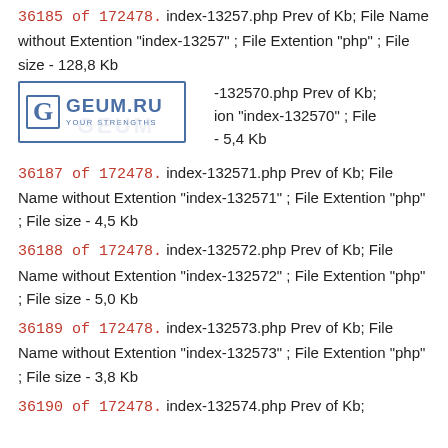36185 of 172478. index-13257.php Prev of Kb; File Name without Extention "index-13257" ; File Extention "php" ; File size - 128,8 Kb
[Figure (logo): GEUM.RU logo with letter G in a box and tagline YOUR STRENGTHS]
-132570.php Prev of Kb; ion "index-132570" ; File - 5,4 Kb
36187 of 172478. index-132571.php Prev of Kb; File Name without Extention "index-132571" ; File Extention "php" ; File size - 4,5 Kb
36188 of 172478. index-132572.php Prev of Kb; File Name without Extention "index-132572" ; File Extention "php" ; File size - 5,0 Kb
36189 of 172478. index-132573.php Prev of Kb; File Name without Extention "index-132573" ; File Extention "php" ; File size - 3,8 Kb
36190 of 172478. index-132574.php Prev of Kb;